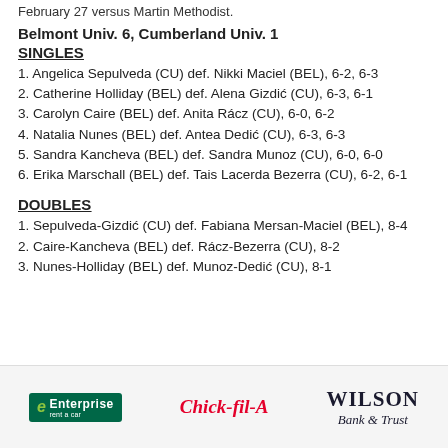February 27 versus Martin Methodist.
Belmont Univ. 6, Cumberland Univ. 1
SINGLES
1. Angelica Sepulveda (CU) def. Nikki Maciel (BEL), 6-2, 6-3
2. Catherine Holliday (BEL) def. Alena Gizdić (CU), 6-3, 6-1
3. Carolyn Caire (BEL) def. Anita Rácz (CU), 6-0, 6-2
4. Natalia Nunes (BEL) def. Antea Dedić (CU), 6-3, 6-3
5. Sandra Kancheva (BEL) def. Sandra Munoz (CU), 6-0, 6-0
6. Erika Marschall (BEL) def. Tais Lacerda Bezerra (CU), 6-2, 6-1
DOUBLES
1. Sepulveda-Gizdić (CU) def. Fabiana Mersan-Maciel (BEL), 8-4
2. Caire-Kancheva (BEL) def. Rácz-Bezerra (CU), 8-2
3. Nunes-Holliday (BEL) def. Munoz-Dedić (CU), 8-1
[Figure (logo): Sponsor logos: Enterprise rent a car, Chick-fil-A, Wilson Bank & Trust]